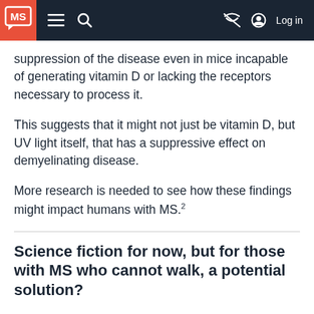MS [logo] ≡ 🔍 [no-eye icon] Log in
suppression of the disease even in mice incapable of generating vitamin D or lacking the receptors necessary to process it.
This suggests that it might not just be vitamin D, but UV light itself, that has a suppressive effect on demyelinating disease.
More research is needed to see how these findings might impact humans with MS.²
Science fiction for now, but for those with MS who cannot walk, a potential solution?